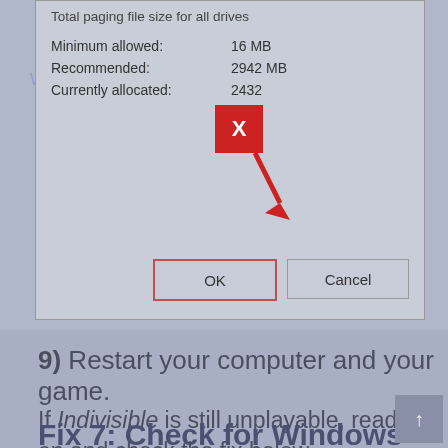[Figure (screenshot): Windows virtual memory dialog box showing paging file size settings. Fields shown: 'Total paging file size for all drives', 'Minimum allowed: 16 MB', 'Recommended: 2942 MB', 'Currently allocated: 2432 MB'. A red X button overlay and red arrow pointing to OK button. OK and Cancel buttons at bottom. Watermark text 'www.DriverEasy.com' visible.]
9) Restart your computer and your game.
If Indivisible is still unplayable, read on and check the fix below.
Fix 7: Check for Windows